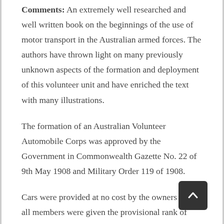Comments: An extremely well researched and well written book on the beginnings of the use of motor transport in the Australian armed forces. The authors have thrown light on many previously unknown aspects of the formation and deployment of this volunteer unit and have enriched the text with many illustrations.
The formation of an Australian Volunteer Automobile Corps was approved by the Government in Commonwealth Gazette No. 22 of 9th May 1908 and Military Order 119 of 1908.
Cars were provided at no cost by the owners and all members were given the provisional rank of Lieutenant in the Australian Army, and given an allowance of 12/6d per day while on duty (chauffeurs